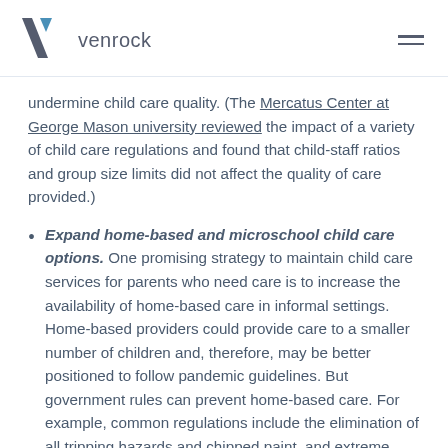venrock
undermine child care quality. (The Mercatus Center at George Mason university reviewed the impact of a variety of child care regulations and found that child-staff ratios and group size limits did not affect the quality of care provided.)
Expand home-based and microschool child care options. One promising strategy to maintain child care services for parents who need care is to increase the availability of home-based care in informal settings. Home-based providers could provide care to a smaller number of children and, therefore, may be better positioned to follow pandemic guidelines. But government rules can prevent home-based care. For example, common regulations include the elimination of all tripping hazards and chipped paint, and extreme